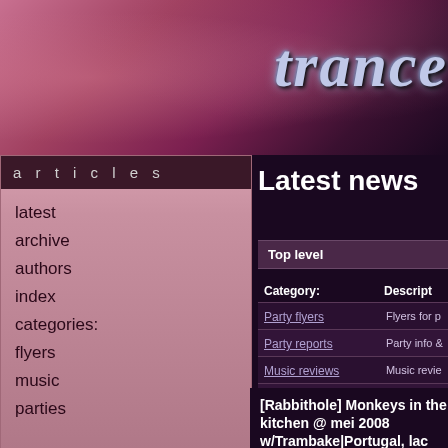trance
articles
latest
archive
authors
index
categories:
flyers
music
parties
Latest news
Top level
| Category: | Descript... |
| --- | --- |
| Party flyers | Flyers for p... |
| Party reports | Party info &... |
| Music reviews | Music revie... |
| Site News | News about... |
| Interviews | Interviews ... |
[Rabbithole] Monkeys in the kitchen @ mei 2008 w/Trambake|Portugal, lack...